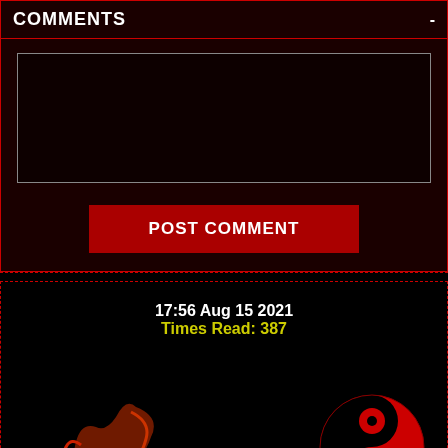COMMENTS -
(comment textarea area)
POST COMMENT
17:56 Aug 15 2021
Times Read: 387
[Figure (illustration): Yin-yang symbol in red and black, and a snake/scorpion illustration in red at the bottom of the page]